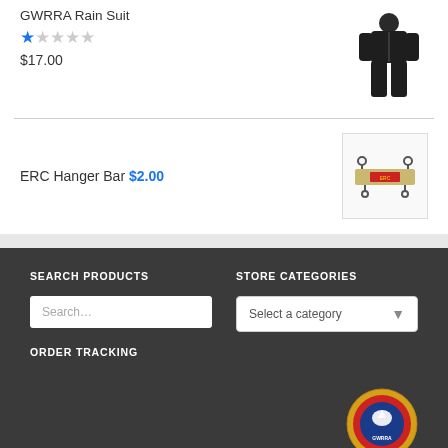GWRRA Rain Suit
[Figure (photo): Rain suit product image - dark colored full body rain suit]
★☆☆☆☆
$17.00
ERC Hanger Bar $2.00
[Figure (photo): ERC Hanger Bar product image - metal bar accessory with red markings]
SEARCH PRODUCTS
STORE CATEGORIES
Search...
Select a category
ORDER TRACKING
[Figure (logo): GWRRA circular logo with eagle emblem]